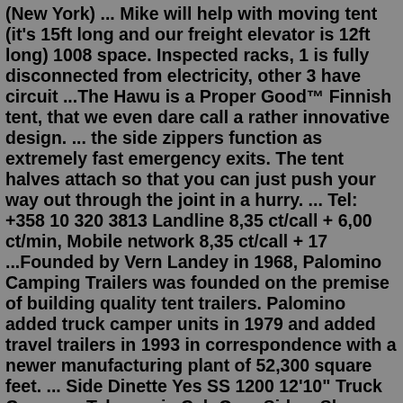(New York) ... Mike will help with moving tent (it's 15ft long and our freight elevator is 12ft long) 1008 space. Inspected racks, 1 is fully disconnected from electricity, other 3 have circuit ...The Hawu is a Proper Good™ Finnish tent, that we even dare call a rather innovative design. ... the side zippers function as extremely fast emergency exits. The tent halves attach so that you can just push your way out through the joint in a hurry. ... Tel: +358 10 320 3813 Landline 8,35 ct/call + 6,00 ct/min, Mobile network 8,35 ct/call + 17 ...Founded by Vern Landey in 1968, Palomino Camping Trailers was founded on the premise of building quality tent trailers. Palomino added truck camper units in 1979 and added travel trailers in 1993 in correspondence with a newer manufacturing plant of 52,300 square feet. ... Side Dinette Yes SS 1200 12'10" Truck Camper - Telescopic Cab Over Side ...Shop Camping World to find portable generators for your RV, camping or tailgating from brands like Honda, Champion & more.Amazon.com: Classic Accessories Over Drive PolyPRO3 Deluxe Teardrop